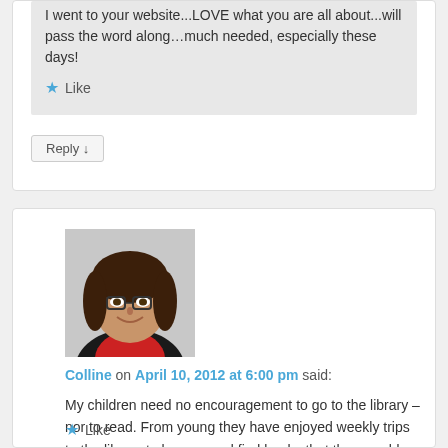I went to your website...LOVE what you are all about...will pass the word along...much needed, especially these days!
Like
Reply ↓
[Figure (photo): Avatar photo of a woman with glasses and dark hair, smiling, wearing a dark jacket]
Colline on April 10, 2012 at 6:00 pm said:
My children need no encouragement to go to the library – nor to read. From young they have enjoyed weekly trips to the library to browse and find books that they would love to learn from.
Like